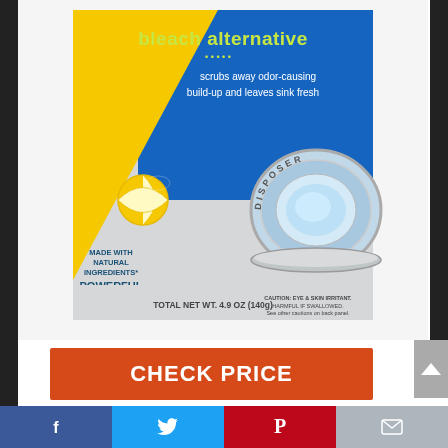[Figure (photo): Product photo of a garbage disposer foaming cleaner package with bleach alternative, blue and yellow packaging, lemon graphic, 'Made with Natural Ingredients', 'Powerful Clean', 'TOTAL NET WT. 4.9 OZ (140g)' label, and a disposer cleaning graphic.]
CHECK PRICE
Feature
Garbage Disposer Foaming Cleaner